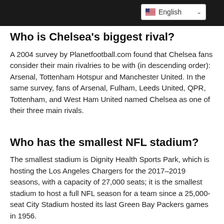[Figure (screenshot): Top navigation bar with dark background and English language selector with US flag and dropdown arrow]
Who is Chelsea's biggest rival?
A 2004 survey by Planetfootball.com found that Chelsea fans consider their main rivalries to be with (in descending order): Arsenal, Tottenham Hotspur and Manchester United. In the same survey, fans of Arsenal, Fulham, Leeds United, QPR, Tottenham, and West Ham United named Chelsea as one of their three main rivals.
Who has the smallest NFL stadium?
The smallest stadium is Dignity Health Sports Park, which is hosting the Los Angeles Chargers for the 2017–2019 seasons, with a capacity of 27,000 seats; it is the smallest stadium to host a full NFL season for a team since a 25,000-seat City Stadium hosted its last Green Bay Packers games in 1956.